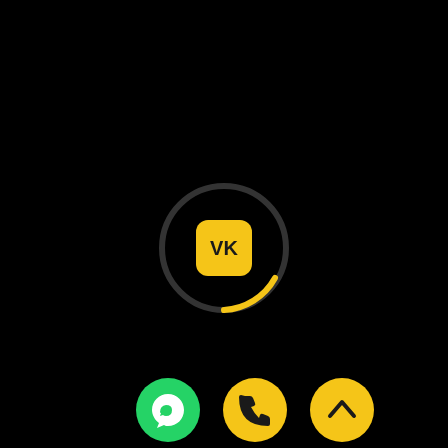[Figure (screenshot): Black background mobile screen showing a VK app icon (yellow rounded square with 'VK' text in dark) inside a circular loading ring (dark arc with yellow partial arc at bottom), and three circular buttons at the bottom: WhatsApp (green with white chat bubble/phone icon), phone call (yellow with white phone icon), and up arrow (yellow with white chevron up icon).]